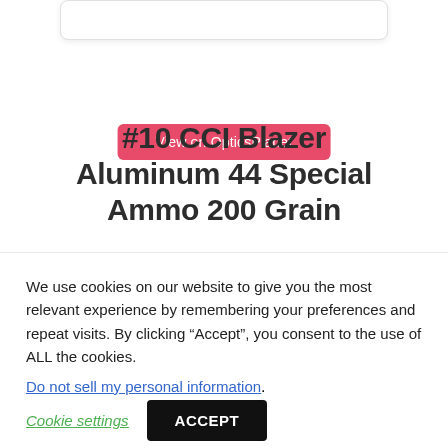[Figure (other): White card/box at the top of the page (partially visible)]
View on OpticsPlanet
#10 CCI Blazer Aluminum 44 Special Ammo 200 Grain
[Figure (other): White card/image placeholder box]
We use cookies on our website to give you the most relevant experience by remembering your preferences and repeat visits. By clicking “Accept”, you consent to the use of ALL the cookies.
Do not sell my personal information.
Cookie settings
ACCEPT